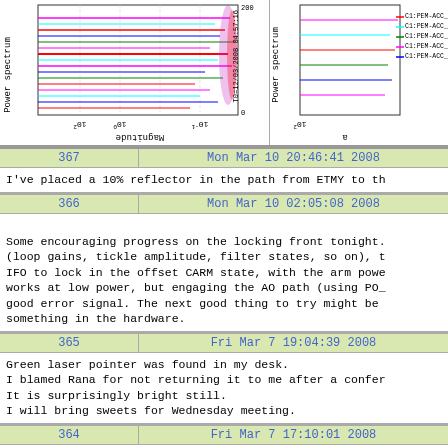[Figure (continuous-plot): Power spectrum plot with horizontal colored traces (multicolored: magenta, cyan, green, red, blue), y-axis labeled 'Power spectrum', x-axis labeled 'Magnitude' (rotated), axis ticks at 10^2, 10^0, 10^-1, timestamp T0=12/03/2008 04:57:16]
[Figure (continuous-plot): Power spectrum plot partial view on right side, y-axis labeled 'Power spectrum', legend with C1:PEM-ACC_MC entries, axes at 10^2]
| 367 | Mon Mar 10 20:46:41 2008 |
| --- | --- |
| I've placed a 10% reflector in the path from ETMY to th |
| 366 | Mon Mar 10 02:05:08 2008 |
| --- | --- |
| Some encouraging progress on the locking front tonight. (loop gains, tickle amplitude, filter states, so on), t IFO to lock in the offset CARM state, with the arm powe works at low power, but engaging the AO path (using PO_ good error signal. The next good thing to try might be something in the hardware. |
| 365 | Fri Mar 7 19:04:39 2008 |
| --- | --- |
| Green laser pointer was found in my desk. | I blamed Rana for not returning it to me after a confer | It is surprisingly bright still. | I will bring sweets for Wednesday meeting. |
| 364 | Fri Mar 7 17:10:01 2008 |
| --- | --- |
| Noise budget has been moved to the svn system. A checke |